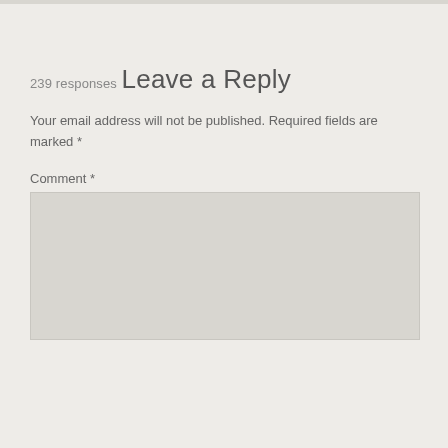239 responses
Leave a Reply
Your email address will not be published. Required fields are marked *
Comment *